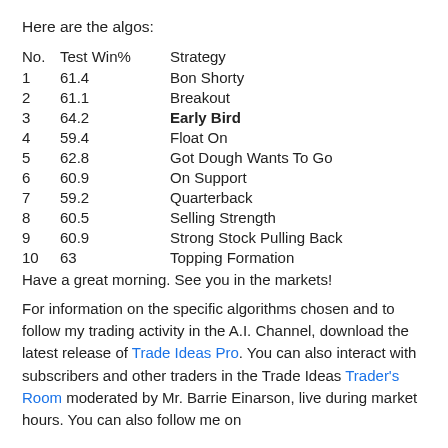Here are the algos:
| No. | Test Win% | Strategy |
| --- | --- | --- |
| 1 | 61.4 | Bon Shorty |
| 2 | 61.1 | Breakout |
| 3 | 64.2 | Early Bird |
| 4 | 59.4 | Float On |
| 5 | 62.8 | Got Dough Wants To Go |
| 6 | 60.9 | On Support |
| 7 | 59.2 | Quarterback |
| 8 | 60.5 | Selling Strength |
| 9 | 60.9 | Strong Stock Pulling Back |
| 10 | 63 | Topping Formation |
Have a great morning. See you in the markets!
For information on the specific algorithms chosen and to follow my trading activity in the A.I. Channel, download the latest release of Trade Ideas Pro. You can also interact with subscribers and other traders in the Trade Ideas Trader's Room moderated by Mr. Barrie Einarson, live during market hours. You can also follow me on